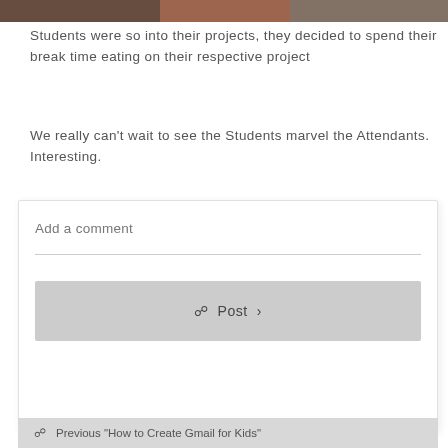[Figure (photo): Partial photo strip at top of page showing students]
Students were so into their projects, they decided to spend their break time eating on their respective project
We really can't wait to see the Students marvel the Attendants. Interesting.
Add a comment
Post
Previous "How to Create Gmail for Kids"